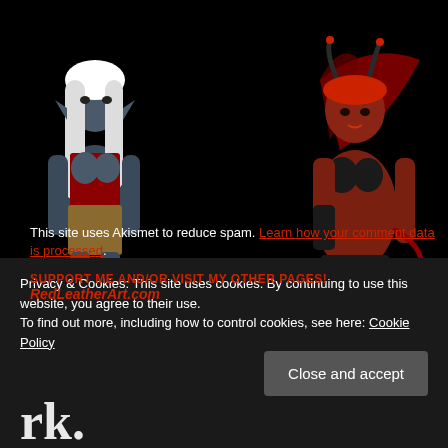[Figure (illustration): Two fantasy demon/devil female figures on black background. Left figure: blue-grey skinned woman with white hair, elf ears, wearing red corset and brown shorts. Right figure: red-skinned woman with horns, bat wings, wearing black bikini top and leather boots.]
This site uses Akismet to reduce spam. Learn how your comment data is processed.
SUPPORT ME AND/OR VISIT MY OTHER PAGES!
RedLeatherArt.com
Privacy & Cookies: This site uses cookies. By continuing to use this website, you agree to their use.
To find out more, including how to control cookies, see here: Cookie Policy
Close and accept